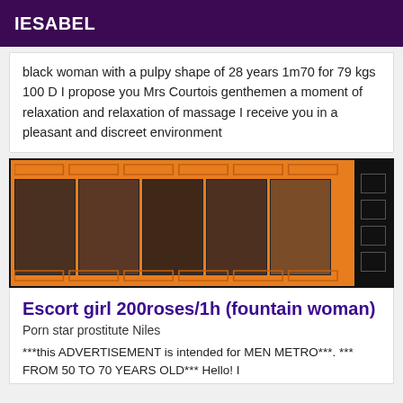IESABEL
black woman with a pulpy shape of 28 years 1m70 for 79 kgs 100 D I propose you Mrs Courtois genthemen a moment of relaxation and relaxation of massage I receive you in a pleasant and discreet environment
[Figure (photo): Collage of escort photos on orange background with decorative squares]
Escort girl 200roses/1h (fountain woman)
Porn star prostitute Niles
***this ADVERTISEMENT is intended for MEN METRO***. *** FROM 50 TO 70 YEARS OLD*** Hello! I